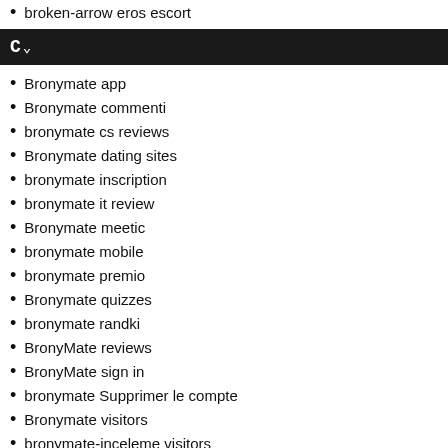broken-arrow eros escort
[Figure (other): Navigation bar with collapse icon (C with chevron) on dark background]
Bronymate app
Bronymate commenti
bronymate cs reviews
Bronymate dating sites
bronymate inscription
bronymate it review
Bronymate meetic
bronymate mobile
bronymate premio
Bronymate quizzes
bronymate randki
BronyMate reviews
BronyMate sign in
bronymate Supprimer le compte
Bronymate visitors
bronymate-inceleme visitors
bronymate-overzicht Inloggen
brownsville escort
brownsville escort directory
brownsville escort near me
Buddhist Dating in de VS
Buddhist Dating only consumer reports